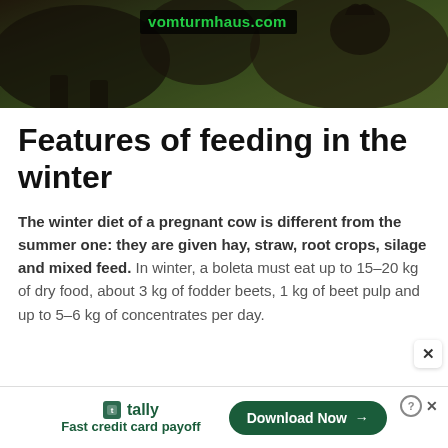[Figure (photo): Photo of a cow/cattle outdoors on grass, with vomturmhaus.com watermark overlay in green text on dark background]
Features of feeding in the winter
The winter diet of a pregnant cow is different from the summer one: they are given hay, straw, root crops, silage and mixed feed. In winter, a boleta must eat up to 15–20 kg of dry food, about 3 kg of fodder beets, 1 kg of beet pulp and up to 5–6 kg of concentrates per day.
[Figure (screenshot): Advertisement banner for Tally app — Fast credit card payoff, with Download Now button]